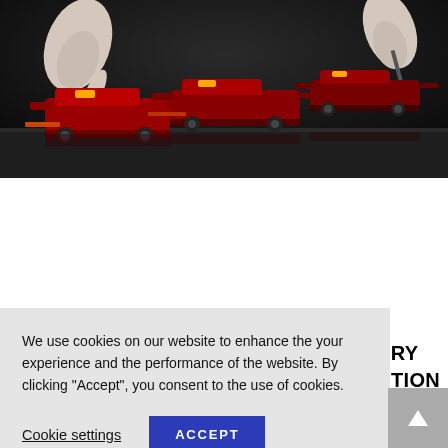[Figure (photo): Dark studio photograph showing hands pointing at three red Ferrari SF1000 Formula 1 scale model cars arranged on a dark surface against a black background.]
AMALGAM INTRODUCES CELEBRATORY FERRARI SF1000
We use cookies on our website to enhance the your experience and the performance of the website. By clicking “Accept”, you consent to the use of cookies.
Cookie settings   ACCEPT